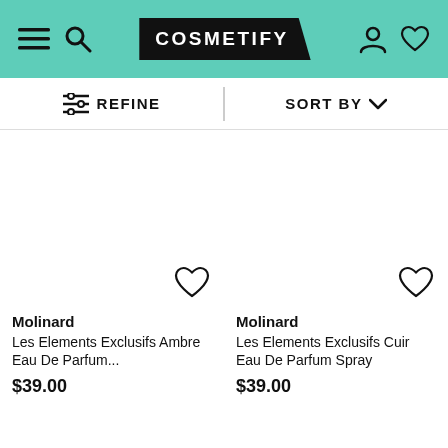COSMETIFY
REFINE | SORT BY
Molinard
Les Elements Exclusifs Ambre Eau De Parfum...
$39.00
Molinard
Les Elements Exclusifs Cuir Eau De Parfum Spray
$39.00